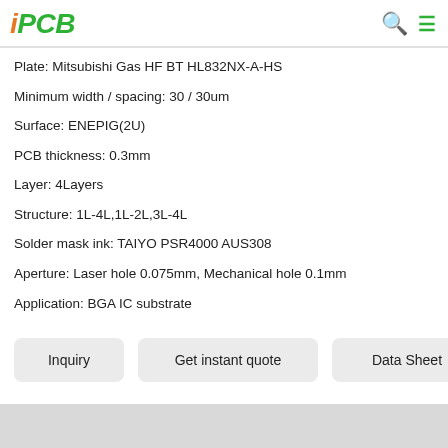iPCB
Plate: Mitsubishi Gas HF BT HL832NX-A-HS
Minimum width / spacing: 30 / 30um
Surface: ENEPIG(2U)
PCB thickness: 0.3mm
Layer: 4Layers
Structure: 1L-4L,1L-2L,3L-4L
Solder mask ink: TAIYO PSR4000 AUS308
Aperture: Laser hole 0.075mm, Mechanical hole 0.1mm
Application: BGA IC substrate
Inquiry | Get instant quote | Data Sheet